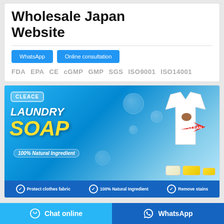Wholesale Japan Website
WhatsApp | Online consultation
FDA  EPA  CE  cGMP  GMP  SGS  ISO9001  ISO14001
[Figure (photo): Laundry soap product advertisement banner with blue background, showing a white t-shirt with brown stains, a red arrow labeled CLEAN, soap bars, and text: LAUNDRY SOAP, 100% Natural Ingredient. Bottom features: Protect clothes fabric, 100% Natural Ingredient, Remove stains.]
Chat online  |  WhatsApp